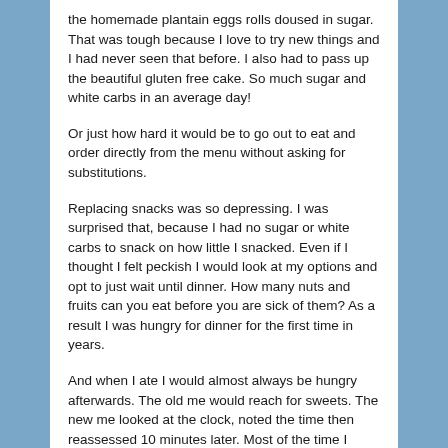the homemade plantain eggs rolls doused in sugar. That was tough because I love to try new things and I had never seen that before. I also had to pass up the beautiful gluten free cake. So much sugar and white carbs in an average day!
Or just how hard it would be to go out to eat and order directly from the menu without asking for substitutions.
Replacing snacks was so depressing. I was surprised that, because I had no sugar or white carbs to snack on how little I snacked. Even if I thought I felt peckish I would look at my options and opt to just wait until dinner. How many nuts and fruits can you eat before you are sick of them? As a result I was hungry for dinner for the first time in years.
And when I ate I would almost always be hungry afterwards. The old me would reach for sweets. The new me looked at the clock, noted the time then reassessed 10 minutes later. Most of the time I wasn't hungry